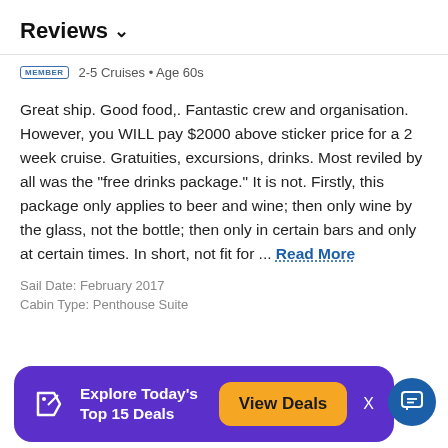Reviews ✓
2-5 Cruises • Age 60s
Great ship. Good food,. Fantastic crew and organisation. However, you WILL pay $2000 above sticker price for a 2 week cruise. Gratuities, excursions, drinks. Most reviled by all was the "free drinks package." It is not. Firstly, this package only applies to beer and wine; then only wine by the glass, not the bottle; then only in certain bars and only at certain times. In short, not fit for ... Read More
Sail Date: February 2017
Cabin Type: Penthouse Suite
Explore Today's Top 15 Deals
View Deals